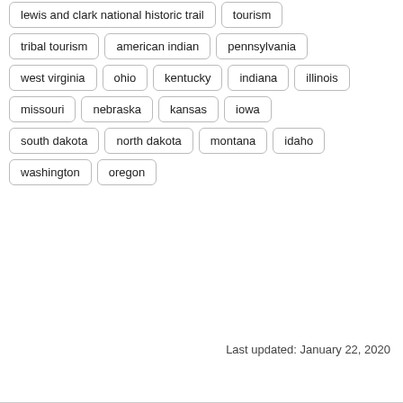lewis and clark national historic trail
tourism
tribal tourism
american indian
pennsylvania
west virginia
ohio
kentucky
indiana
illinois
missouri
nebraska
kansas
iowa
south dakota
north dakota
montana
idaho
washington
oregon
Last updated: January 22, 2020